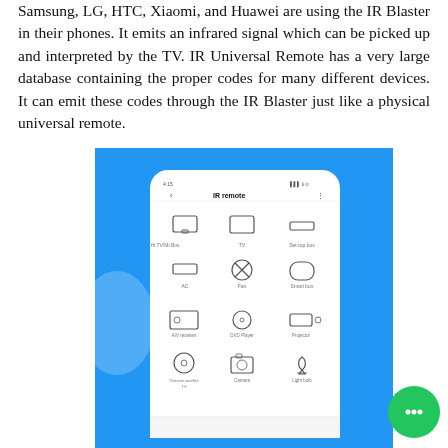Samsung, LG, HTC, Xiaomi, and Huawei are using the IR Blaster in their phones. It emits an infrared signal which can be picked up and interpreted by the TV. IR Universal Remote has a very large database containing the proper codes for many different devices. It can emit these codes through the IR Blaster just like a physical universal remote.
[Figure (screenshot): Screenshot of an IR remote app on a smartphone showing a blue background with a white phone UI. The app is titled 'IR remote' and shows device categories: Hi TV/Mi Box, TV, Set-top box, AC, Fan, Smart box, A/V receiver, DVD Player, Projector, Chinese satellite TV, Camera, Light bulb.]